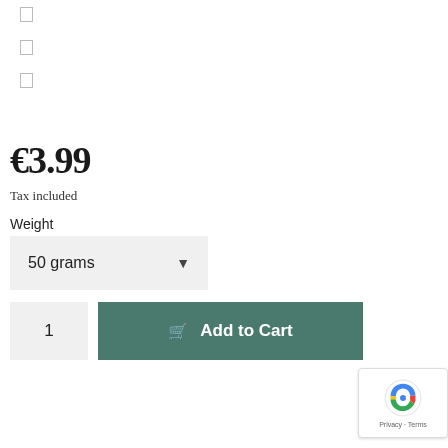□
□
□
€3.99
Tax included
Weight
50 grams
1
Add to Cart